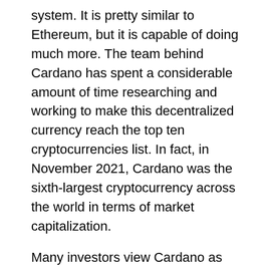system. It is pretty similar to Ethereum, but it is capable of doing much more. The team behind Cardano has spent a considerable amount of time researching and working to make this decentralized currency reach the top ten cryptocurrencies list. In fact, in November 2021, Cardano was the sixth-largest cryptocurrency across the world in terms of market capitalization.
Many investors view Cardano as the “Ethereum killer” because of its potential. Besides facilitating decentralized financial transactions, it can also provide solutions to counter voter fraud, chain interoperability, legal contract tracing, etc. Though Cardano is still in its nascent stage, its future holds tremendous growth potential. If you’re someone who bets big on cryptocurrencies, you cannot ignore Cardano.
5. Solana